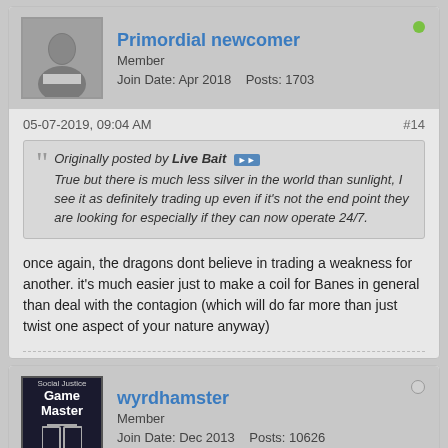Primordial newcomer
Member
Join Date: Apr 2018    Posts: 1703
05-07-2019, 09:04 AM
#14
Originally posted by Live Bait
True but there is much less silver in the world than sunlight, I see it as definitely trading up even if it's not the end point they are looking for especially if they can now operate 24/7.
once again, the dragons dont believe in trading a weakness for another. it's much easier just to make a coil for Banes in general than deal with the contagion (which will do far more than just twist one aspect of your nature anyway)
wyrdhamster
Member
Join Date: Dec 2013    Posts: 10626